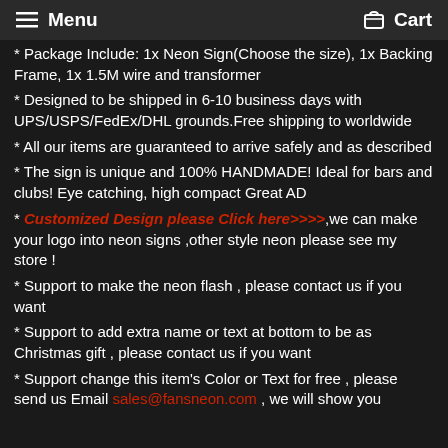Menu   Cart
* Package Include: 1x Neon Sign(Choose the size), 1x Backing Frame, 1x 1.5M wire and transformer
* Designed to be shipped in 6-10 business days with UPS/USPS/FedEx/DHL grounds.Free shipping to worldwide
* All our items are guaranteed to arrive safely and as described
* The sign is unique and 100% HANDMADE! Ideal for bars and clubs! Eye catching, high compact Great AD
* Customized Design please Click here>>>>,we can make your logo into neon signs ,other style neon please see my store !
* Support to make the neon flash , please contact us if you want
* Support to add extra name or text at bottom to be as Christmas gift , please contact us if you want
* Support change this item's Color or Text for free , please send us Email sales@fansneon.com , we will show you